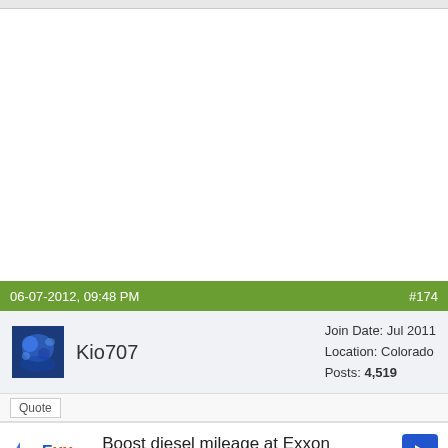06-07-2012, 09:48 PM   #174
Kio707  Join Date: Jul 2011  Location: Colorado  Posts: 4,519
Quote
[Figure (screenshot): Exxon advertisement banner: 'Boost diesel mileage at Exxon' with Exxon logo and navigation arrow icon]
Orig Salt  cent